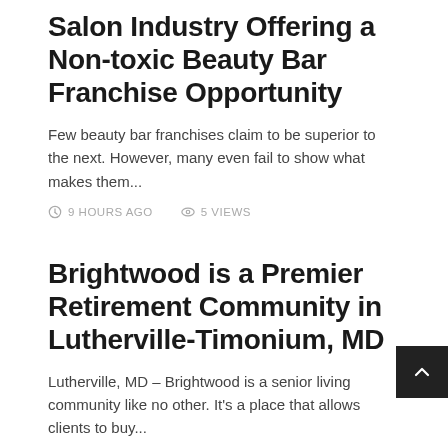Salon Industry Offering a Non-toxic Beauty Bar Franchise Opportunity
Few beauty bar franchises claim to be superior to the next. However, many even fail to show what makes them...
9 HOURS AGO   5 VIEWS
Brightwood is a Premier Retirement Community in Lutherville-Timonium, MD
Lutherville, MD – Brightwood is a senior living community like no other. It's a place that allows clients to buy...
9 HOURS AGO   4 VIEWS